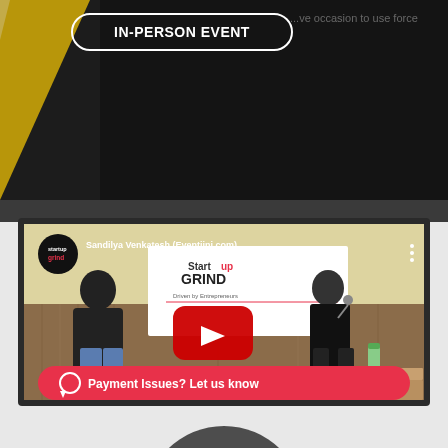[Figure (screenshot): Top banner with dark background, yellow diagonal stripe on left, 'IN-PERSON EVENT' badge with white border, and partial text visible in background]
[Figure (screenshot): YouTube video thumbnail showing two people in conversation at a Startup Grind event, with Startup Grind logo, video title 'Sandilya Venkatesh (Eventjini.com) ...', red YouTube play button overlay, and a red 'Payment Issues? Let us know' chat CTA button at the bottom]